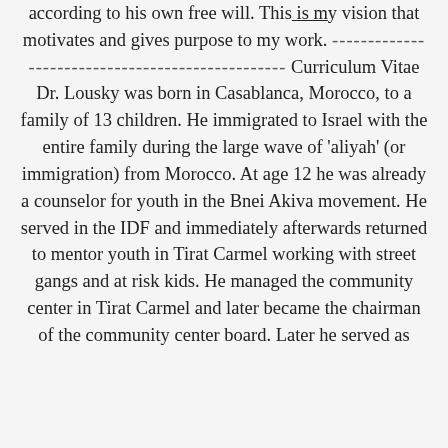according to his own free will. This is my vision that motivates and gives purpose to my work. ------------------------------------------------- Curriculum Vitae Dr. Lousky was born in Casablanca, Morocco, to a family of 13 children. He immigrated to Israel with the entire family during the large wave of 'aliyah' (or immigration) from Morocco. At age 12 he was already a counselor for youth in the Bnei Akiva movement. He served in the IDF and immediately afterwards returned to mentor youth in Tirat Carmel working with street gangs and at risk kids. He managed the community center in Tirat Carmel and later became the chairman of the community center board. Later he served as